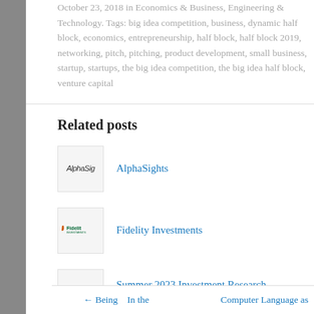October 23, 2018 in Economics & Business, Engineering & Technology. Tags: big idea competition, business, dynamic half block, economics, entrepreneurship, half block, half block 2019, networking, pitch, pitching, product development, small business, startup, startups, the big idea competition, the big idea half block, venture capital
Related posts
AlphaSights
[Figure (logo): AlphaSights logo placeholder box showing 'AlphaSig' text]
Fidelity Investments
[Figure (logo): Fidelity Investments logo with green and orange text]
Summer 2023 Investment Research Internships
[Figure (logo): Fidelity Investments logo with green and orange text]
← Being    In the        Computer Language as